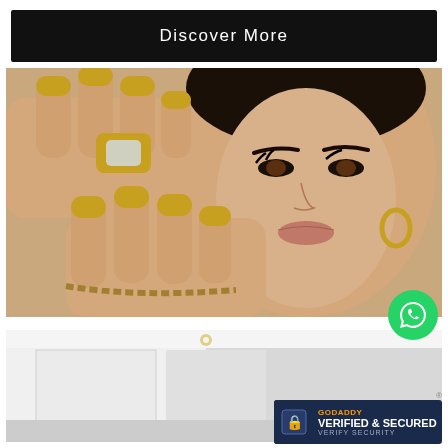Discover More
[Figure (photo): Woman with gold metallic nail polish and gold jewelry posing with hands near face]
[Figure (photo): Interior room with white walls, partially visible]
[Figure (logo): GoDaddy Verified & Secured badge]